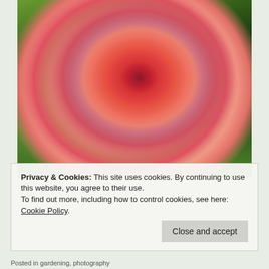[Figure (photo): Close-up photograph of a large red and pink dahlia flower with many layered petals, dark green foliage visible in the background.]
Privacy & Cookies: This site uses cookies. By continuing to use this website, you agree to their use.
To find out more, including how to control cookies, see here: Cookie Policy
Close and accept
Posted in gardening, photography